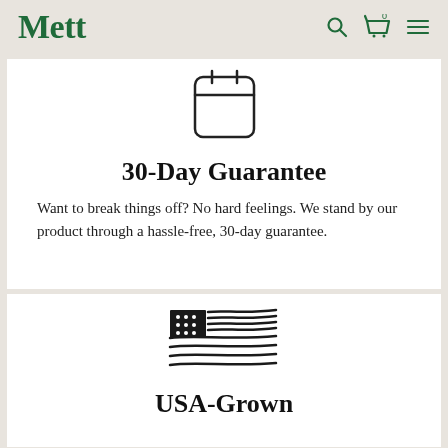Mett
[Figure (illustration): Calendar icon — rounded rectangle with two tabs at top and a horizontal line dividing the header]
30-Day Guarantee
Want to break things off? No hard feelings. We stand by our product through a hassle-free, 30-day guarantee.
[Figure (illustration): USA flag icon — stylized American flag with stars on canton and wavy stripes]
USA-Grown